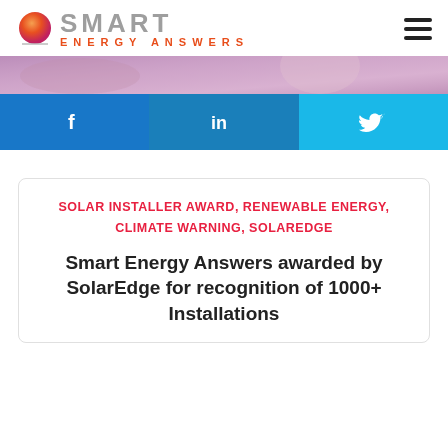[Figure (logo): Smart Energy Answers logo with orange gradient circle icon and gray/orange text]
[Figure (photo): Banner photo showing solar panels with purple/mauve toned overlay]
[Figure (other): Social media share bar with Facebook (blue), LinkedIn (blue), and Twitter (light blue) icons]
SOLAR INSTALLER AWARD, RENEWABLE ENERGY, CLIMATE WARNING, SOLAREDGE
Smart Energy Answers awarded by SolarEdge for recognition of 1000+ Installations